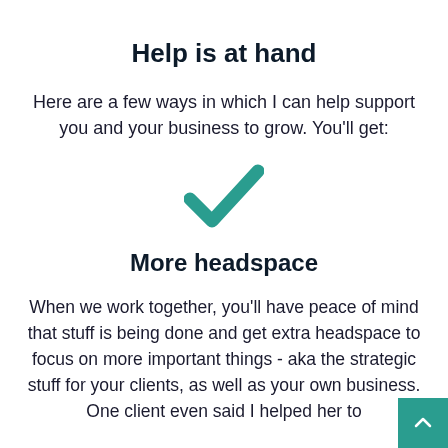Help is at hand
Here are a few ways in which I can help support you and your business to grow. You’ll get:
[Figure (illustration): A teal/green checkmark icon centered on the page]
More headspace
When we work together, you’ll have peace of mind that stuff is being done and get extra headspace to focus on more important things - aka the strategic stuff for your clients, as well as your own business. One client even said I helped her to